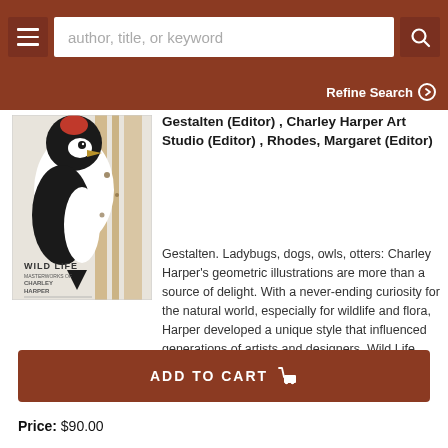author, title, or keyword — search bar with hamburger menu and search button
Refine Search ❯
[Figure (photo): Book cover for 'Wild Life' featuring geometric illustration of a black and white woodpecker-like bird with abstract natural elements]
Gestalten (Editor) , Charley Harper Art Studio (Editor) , Rhodes, Margaret (Editor)
Gestalten. Ladybugs, dogs, owls, otters: Charley Harper's geometric illustrations are more than a source of delight. With a never-ending curiosity for the natural world, especially for wildlife and flora, Harper developed a unique style that influenced generations of artists and designers. Wild Life celebrates the centenary and legacy of Charley Harper..... More ›
ADD TO CART 🛒
Price: $90.00